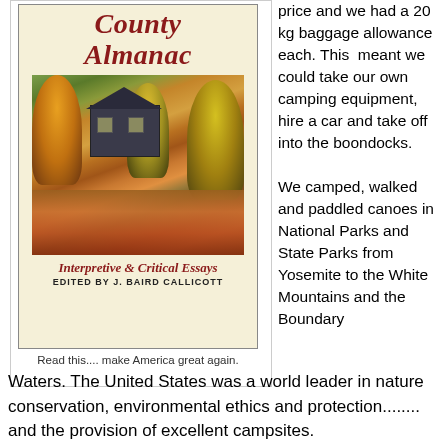[Figure (photo): Book cover of 'County Almanac: Interpretive & Critical Essays, Edited by J. Baird Callicott'. Shows a cabin surrounded by autumn-colored trees with colorful fall foliage in the foreground.]
Read this.... make America great again.
price and we had a 20 kg baggage allowance each. This meant we could take our own camping equipment, hire a car and take off into the boondocks.

We camped, walked and paddled canoes in National Parks and State Parks from Yosemite to the White Mountains and the Boundary Waters. The United States was a world leader in nature conservation, environmental ethics and protection........ and the provision of excellent campsites.